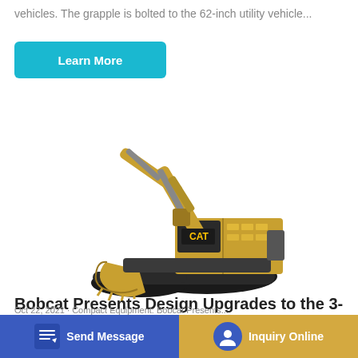vehicles. The grapple is bolted to the 62-inch utility vehicle...
[Figure (illustration): CAT brand large excavator with yellow body, black tracks, and bucket attachment, shown in profile view on white background]
Bobcat Presents Design Upgrades to the 3-
Send Message
Inquiry Online
Oct 22, 2021 - Compact Equipment: Bobcat Presents...